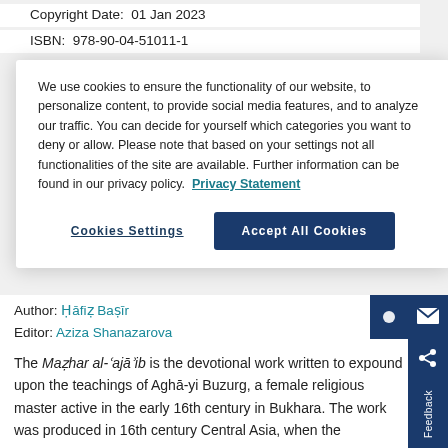Copyright Date:  01 Jan 2023
ISBN:  978-90-04-51011-1
We use cookies to ensure the functionality of our website, to personalize content, to provide social media features, and to analyze our traffic. You can decide for yourself which categories you want to deny or allow. Please note that based on your settings not all functionalities of the site are available. Further information can be found in our privacy policy.  Privacy Statement
Cookies Settings
Accept All Cookies
Author: Ḥāfiẓ Baṣīr
Editor: Aziza Shanazarova
The Maẓhar al-ʿajāʾib is the devotional work written to expound upon the teachings of Aghā-yi Buzurg, a female religious master active in the early 16th century in Bukhara. The work was produced in 16th century Central Asia, when the